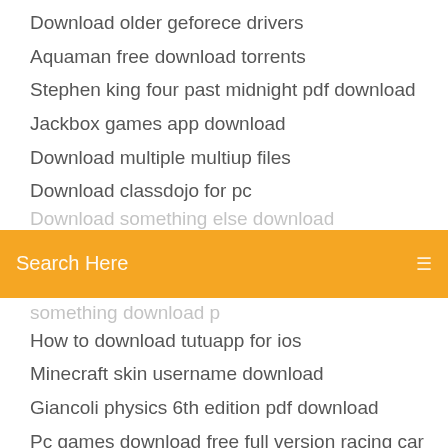Download older geforece drivers
Aquaman free download torrents
Stephen king four past midnight pdf download
Jackbox games app download
Download multiple multiup files
Download classdojo for pc
[Figure (screenshot): Orange search bar with 'Search Here' placeholder text and a menu icon on the right]
How to download tutuapp for ios
Minecraft skin username download
Giancoli physics 6th edition pdf download
Pc games download free full version racing car
Apk mirror app download
Hp envy 7640 prinver driver download
Download adboe illustrator torrent
Free vpn downloader for pc
Download world war z for pc
Download file info free